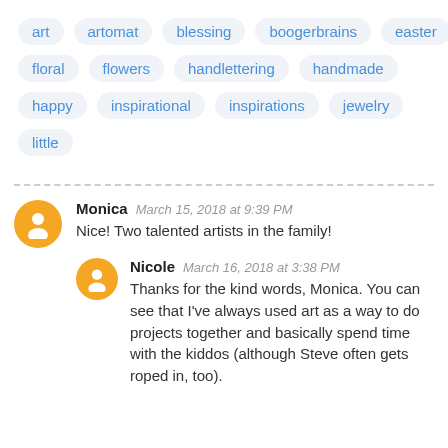art
artomat
blessing
boogerbrains
easter
floral
flowers
handlettering
handmade
happy
inspirational
inspirations
jewelry
little
Monica  March 15, 2018 at 9:39 PM
Nice! Two talented artists in the family!
Nicole  March 16, 2018 at 3:38 PM
Thanks for the kind words, Monica. You can see that I've always used art as a way to do projects together and basically spend time with the kiddos (although Steve often gets roped in, too).